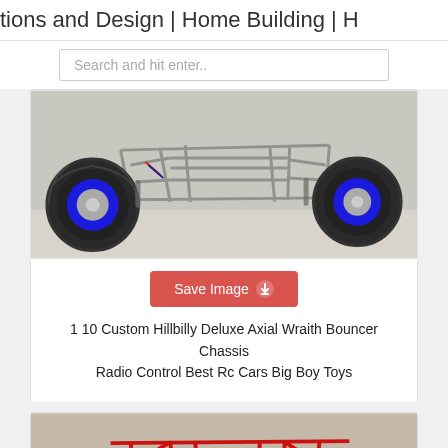tions and Design | Home Building | H
Search and hit enter..
[Figure (photo): RC buggy/crawler with metal tube chassis frame, large black off-road tires with blue rims, photographed from front-rear angle on light background]
Save Image
1 10 Custom Hillbilly Deluxe Axial Wraith Bouncer Chassis Radio Control Best Rc Cars Big Boy Toys
[Figure (photo): RC crawler with bright red tube chassis frame, large black off-road tires, shock absorbers visible, photographed from side angle]